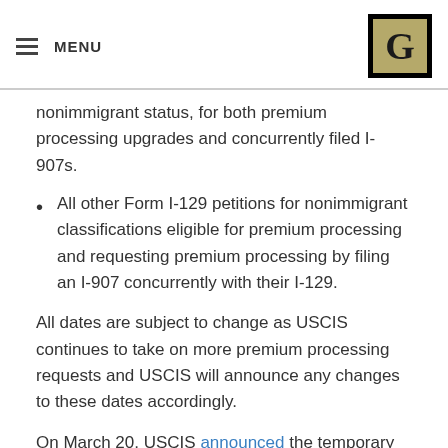MENU
nonimmigrant status, for both premium processing upgrades and concurrently filed I-907s.
All other Form I-129 petitions for nonimmigrant classifications eligible for premium processing and requesting premium processing by filing an I-907 concurrently with their I-129.
All dates are subject to change as USCIS continues to take on more premium processing requests and USCIS will announce any changes to these dates accordingly.
On March 20, USCIS announced the temporary suspension of premium processing for all Form I-129 and I-140 petitions due to the coronavirus (COVID-19). USCIS continues to process any petition with a previously accepted Form I-907, in accordance with the premium processing service criteria